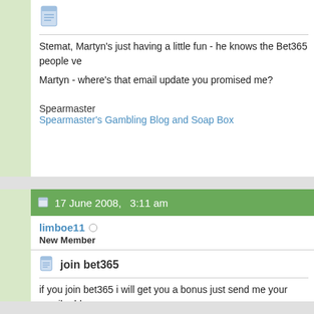[Figure (illustration): Document/page icon (blue)]
Stemat, Martyn's just having a little fun - he knows the Bet365 people ve
Martyn - where's that email update you promised me?
Spearmaster
Spearmaster's Gambling Blog and Soap Box
17 June 2008,   3:11 am
limboe11
New Member
[Figure (illustration): Document/page icon (blue)]
join bet365
if you join bet365 i will get you a bonus just send me your email address